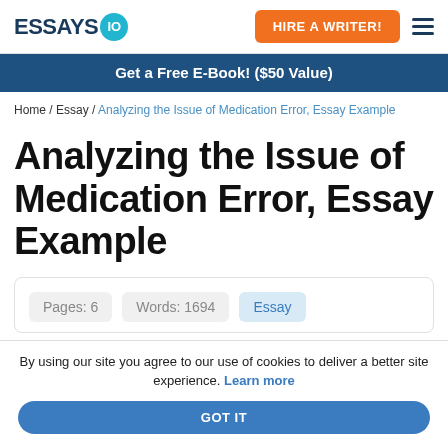ESSAYS IO | HIRE A WRITER!
Get a Free E-Book! ($50 Value)
Home / Essay / Analyzing the Issue of Medication Error, Essay Example
Analyzing the Issue of Medication Error, Essay Example
Pages: 6   Words: 1694   Essay
By using our site you agree to our use of cookies to deliver a better site experience. Learn more
GOT IT